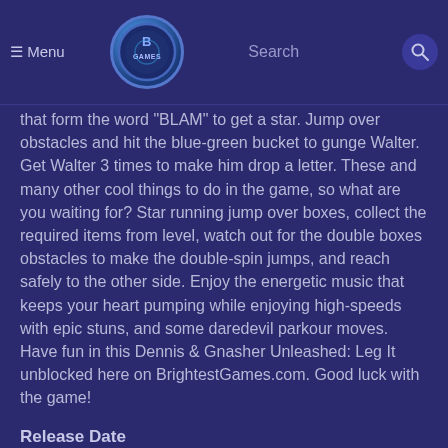Menu | BrightestGames logo | Search
that form the word "BLAM" to get a star. Jump over obstacles and hit the blue-green bucket to gunge Walter. Get Walter 3 times to make him drop a letter. These and many other cool things to do in the game, so what are you waiting for? Star running jump over boxes, collect the required items from level, watch out for the double boxes obstacles to make the double-spin jumps, and reach safely to the other side. Enjoy the energetic music that keeps your heart pumping while enjoying high-speeds with epic stuns, and some daredevil parkour moves. Have fun in this Dennis & Gnasher Unleashed: Leg It unblocked here on BrightestGames.com. Good luck with the game!
Release Date
October 2020
Controls
Use the mouse to navigate the game interface.
Use the up and down arrow keys to run, jump, and stop.